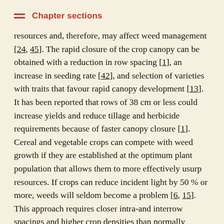Chapter sections
resources and, therefore, may affect weed management [24, 45]. The rapid closure of the crop canopy can be obtained with a reduction in row spacing [1], an increase in seeding rate [42], and selection of varieties with traits that favour rapid canopy development [13]. It has been reported that rows of 38 cm or less could increase yields and reduce tillage and herbicide requirements because of faster canopy closure [1]. Cereal and vegetable crops can compete with weed growth if they are established at the optimum plant population that allows them to more effectively usurp resources. If crops can reduce incident light by 50 % or more, weeds will seldom become a problem [6, 15]. This approach requires closer intra-and interrow spacings and higher crop densities than normally used.